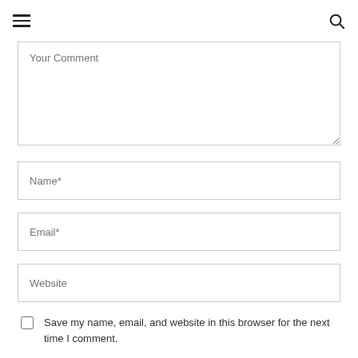hamburger menu | search icon
Your Comment
Name*
Email*
Website
Save my name, email, and website in this browser for the next time I comment.